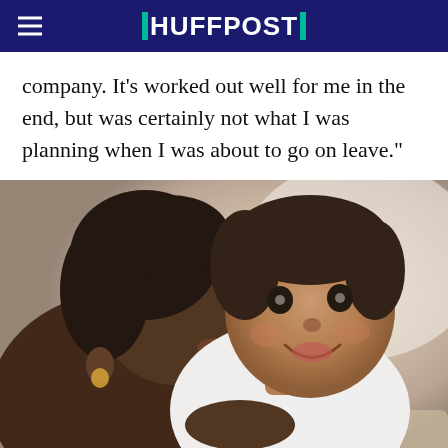HUFFPOST
company. It’s worked out well for me in the end, but was certainly not what I was planning when I was about to go on leave.”
[Figure (photo): A Black mother kissing the cheek of her smiling baby, who is dressed in white. The baby faces the camera with a bright smile while the mother presses her lips gently to the side of his face. Warm, soft lighting with a light background.]